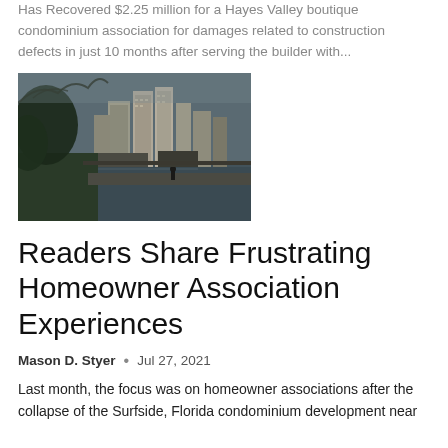Has Recovered $2.25 million for a Hayes Valley boutique condominium association for damages related to construction defects in just 10 months after serving the builder with…
[Figure (photo): Photograph of a city waterfront with tall condominium or office buildings in the background, trees in the foreground, and a person walking along the waterfront path.]
Readers Share Frustrating Homeowner Association Experiences
Mason D. Styer  •  Jul 27, 2021
Last month, the focus was on homeowner associations after the collapse of the Surfside, Florida condominium development near